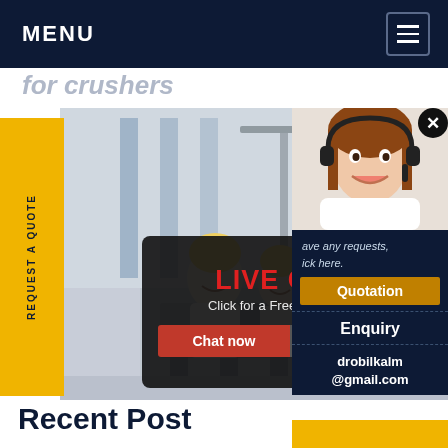MENU
for crushers
[Figure (screenshot): Industrial machinery scene with workers in yellow hard hats and a live chat popup overlay. The popup reads 'LIVE CHAT / Click for a Free Consultation' with 'Chat now' and 'Chat later' buttons. A customer service representative photo appears on the right with a headset.]
REQUEST A QUOTE
ave any requests, ick here.
Quotation
Enquiry
drobilkalm@gmail.com
Recent Post